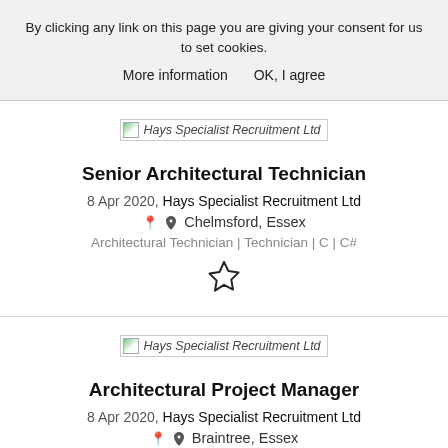By clicking any link on this page you are giving your consent for us to set cookies.
More information    OK, I agree
[Figure (logo): Hays Specialist Recruitment Ltd company logo placeholder]
Senior Architectural Technician
8 Apr 2020, Hays Specialist Recruitment Ltd
Chelmsford, Essex
Architectural Technician | Technician | C | C#
[Figure (illustration): Star / favourite icon (outline star)]
[Figure (logo): Hays Specialist Recruitment Ltd company logo placeholder]
Architectural Project Manager
8 Apr 2020, Hays Specialist Recruitment Ltd
Braintree, Essex
Architectural Technician | Technician | Archi...